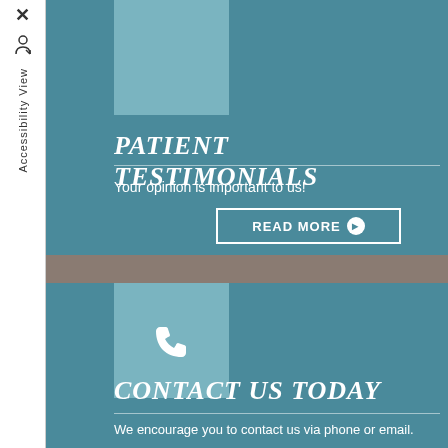PATIENT TESTIMONIALS
Your opinion is important to us!
READ MORE
CONTACT US TODAY
We encourage you to contact us via phone or email.